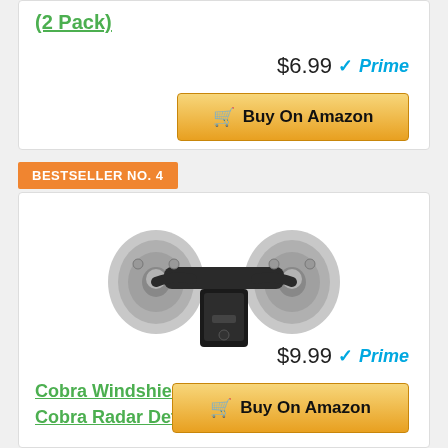(2 Pack)
$6.99 ✓Prime
Buy On Amazon
BESTSELLER NO. 4
[Figure (photo): Cobra windshield mount kit product photo showing a dual suction cup mount with black center bracket]
Cobra Windshield Mount Kit for Select Cobra Radar Detectors (545-159-N-001)
$9.99 ✓Prime
Buy On Amazon